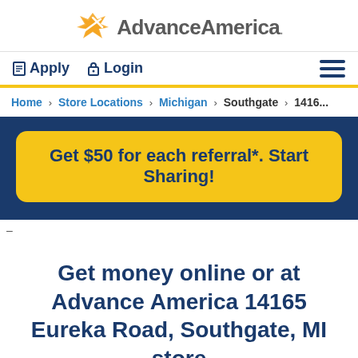[Figure (logo): Advance America logo with orange star/arrow icon and gray bold text]
Apply  Login
Home > Store Locations > Michigan > Southgate > 1416...
[Figure (infographic): Dark navy banner with yellow rounded button: Get $50 for each referral*. Start Sharing!]
–
Get money online or at Advance America 14165 Eureka Road, Southgate, MI store